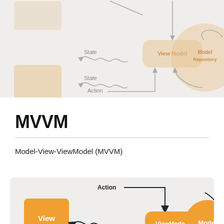[Figure (schematic): Faded MVVM architecture diagram at top of page showing View boxes on left, View Model rounded rectangle in center, Model Repository circle on right, with State and Action labels and curved arrows connecting components.]
MVVM
Model-View-ViewModel (MVVM)
[Figure (schematic): MVVM architecture diagram showing orange View box on left, orange ViewModel rounded rectangle in center, orange Model circle partially visible on right. Action label with arrow pointing down to ViewModel, State label with wavy arrow pointing left to View, curved arrow from Model to ViewModel.]